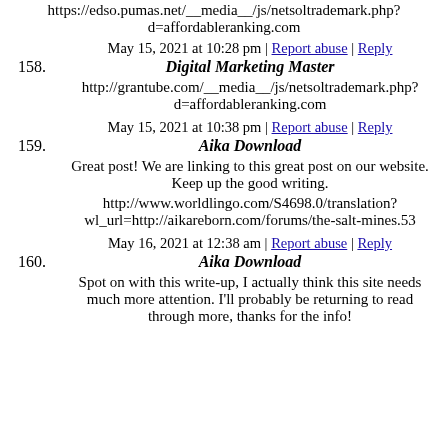https://edso.pumas.net/__media__/js/netsoltrademark.php?d=affordableranking.com
158. Digital Marketing Master
May 15, 2021 at 10:28 pm | Report abuse | Reply
http://grantube.com/__media__/js/netsoltrademark.php?d=affordableranking.com
159. Aika Download
May 15, 2021 at 10:38 pm | Report abuse | Reply
Great post! We are linking to this great post on our website. Keep up the good writing.
http://www.worldlingo.com/S4698.0/translation?wl_url=http://aikareborn.com/forums/the-salt-mines.53
160. Aika Download
May 16, 2021 at 12:38 am | Report abuse | Reply
Spot on with this write-up, I actually think this site needs much more attention. I'll probably be returning to read through more, thanks for the info!